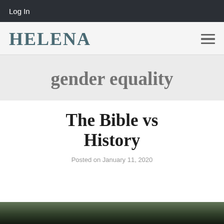Log In
HELENA
gender equality
The Bible vs History
Posted on January 11, 2020
[Figure (photo): Dark outdoor/forest photograph visible at the bottom of the page]